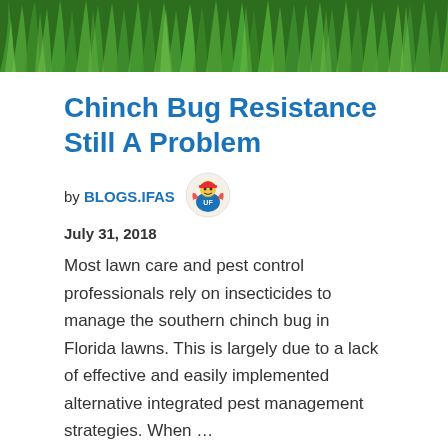[Figure (photo): Close-up photograph of green grass blades, cropped header image]
Chinch Bug Resistance Still A Problem
by BLOGS.IFAS
July 31, 2018
Most lawn care and pest control professionals rely on insecticides to manage the southern chinch bug in Florida lawns. This is largely due to a lack of effective and easily implemented alternative integrated pest management strategies. When …
READ MORE
Category: Agriculture, Horticulture, Pests & Disease
Tags: Cflandscapes, Chinch Bugs, Pest Control, Pests